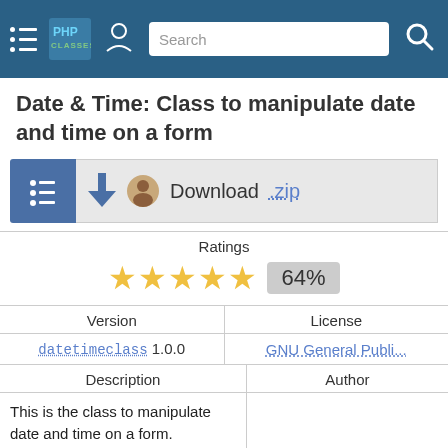PHPClasses - Search
Date & Time: Class to manipulate date and time on a form
[Figure (screenshot): Download .zip button with list icon and avatar]
| Ratings |
| --- |
| ★★★★★ 64% |
| Version | License |
| --- | --- |
| datetimeclass 1.0.0 | GNU General Publi... |
| Description | Author |
| --- | --- |
| This is the class to manipulate date and time on a form.

It will help on any form where you need use dropdown selects for dates and/or time. With one method of this class you can easily generate a |  |